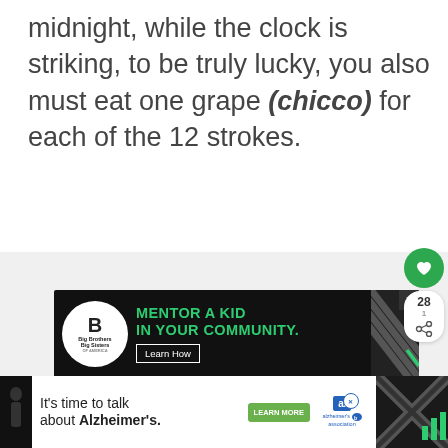midnight, while the clock is striking, to be truly lucky, you also must eat one grape (chicco) for each of the 12 strokes.
[Figure (screenshot): Advertisement banner: Big Brothers Big Sisters – 'MENTOR A KID IN YOUR COMMUNITY.' with Learn How button]
[Figure (screenshot): Social share sidebar with heart icon (28 likes) and share button]
[Figure (screenshot): What's Next promo: Italian Chicken Soup thumbnail and link]
[Figure (screenshot): Bottom advertisement: It's time to talk about Alzheimer's. with Learn More button and Alzheimer's Association logo]